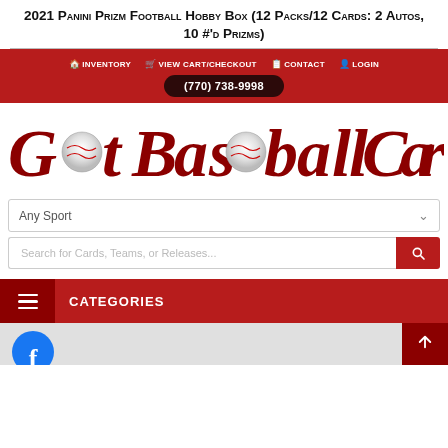2021 Panini Prizm Football Hobby Box (12 Packs/12 Cards: 2 Autos, 10 #'d Prizms)
INVENTORY  VIEW CART/CHECKOUT  CONTACT  LOGIN  (770) 738-9998
[Figure (logo): GotBaseballCards logo in large dark red stylized text with baseball imagery replacing certain letters]
[Figure (screenshot): Any Sport dropdown selector with chevron arrow]
[Figure (screenshot): Search bar with placeholder text 'Search for Cards, Teams, or Releases...' and red search button]
CATEGORIES
[Figure (logo): Facebook logo circle at bottom left, scroll-to-top button at bottom right]